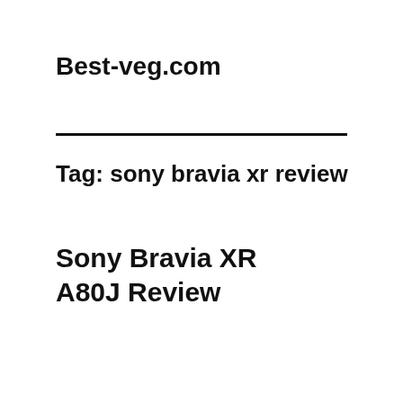Best-veg.com
Tag: sony bravia xr review
Sony Bravia XR A80J Review